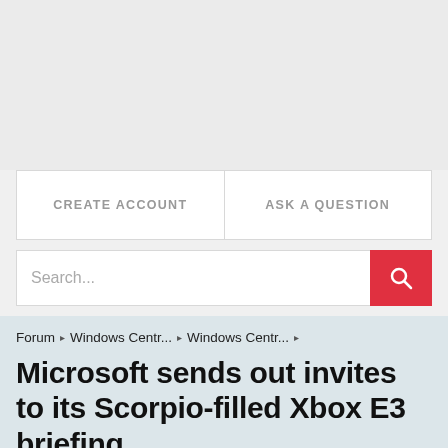[Figure (other): Gray advertisement/banner placeholder area at top of page]
CREATE ACCOUNT
ASK A QUESTION
Search...
Forum ▶ Windows Centr... ▶ Windows Centr... ▶
Microsoft sends out invites to its Scorpio-filled Xbox E3 briefing
We are delighted to announce that our forums are